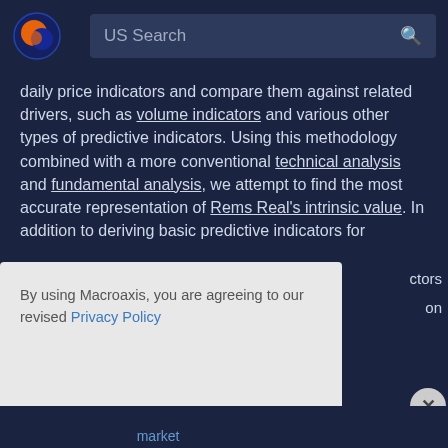[Figure (logo): Macroaxis logo - orange and blue globe icon]
US Search
daily price indicators and compare them against related drivers, such as volume indicators and various other types of predictive indicators. Using this methodology combined with a more conventional technical analysis and fundamental analysis, we attempt to find the most accurate representation of Rems Real's intrinsic value. In addition to deriving basic predictive indicators for
ctors on
By using Macroaxis, you are agreeing to our revised Privacy Policy
OK
market
line and how fair to the player